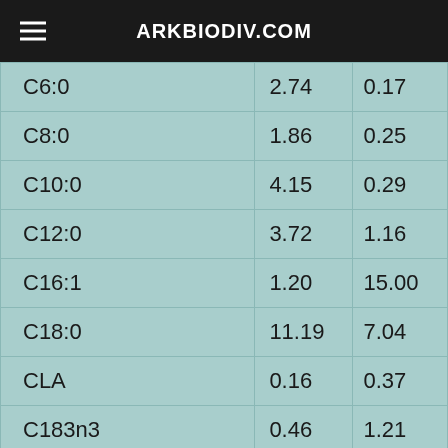ARKBIODIV.COM
| C6:0 | 2.74 | 0.17 |
| C8:0 | 1.86 | 0.25 |
| C10:0 | 4.15 | 0.29 |
| C12:0 | 3.72 | 1.16 |
| C16:1 | 1.20 | 15.00 |
| C18:0 | 11.19 | 7.04 |
| CLA | 0.16 | 0.37 |
| C183n3 | 0.46 | 1.21 |